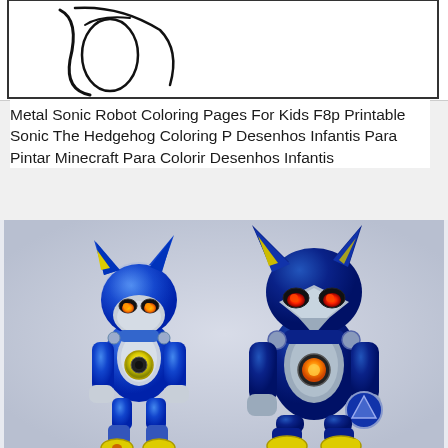[Figure (illustration): Partial view of a coloring page outline showing curved lines, likely part of Sonic the Hedgehog character outline, in black and white with a rectangular border]
Metal Sonic Robot Coloring Pages For Kids F8p Printable Sonic The Hedgehog Coloring P Desenhos Infantis Para Pintar Minecraft Para Colorir Desenhos Infantis
[Figure (illustration): Two Metal Sonic robot character illustrations side by side. Left figure is a smaller, rounder classic Metal Sonic in blue metallic armor with yellow ear fins, orange glowing eyes, yellow chest ring, and robotic limbs with yellow feet. Right figure is a taller, more angular modern Metal Sonic in dark blue metallic armor with sharp spines, red glowing eyes, a beak-like face mask, orange chest gem, and robotic limbs. Both characters are rendered in a detailed, colorful digital art style.]